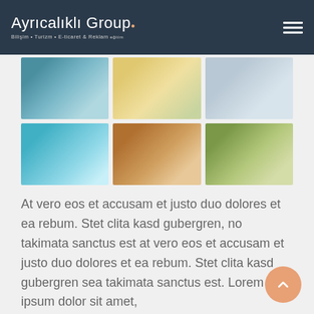Ayrıcalıklı Group — Bilişim • Turizm • E-ticaret & Reklam
[Figure (photo): 3x2 grid of six photographs: woman looking through washing machine porthole, colorful sticky notes on table, laptop workspace, knife and orange on cyan background, person working at desk with coffee, open notebook with stationery]
At vero eos et accusam et justo duo dolores et ea rebum. Stet clita kasd gubergren, no takimata sanctus est at vero eos et accusam et justo duo dolores et ea rebum. Stet clita kasd gubergren sea takimata sanctus est. Lorem ipsum dolor sit amet,